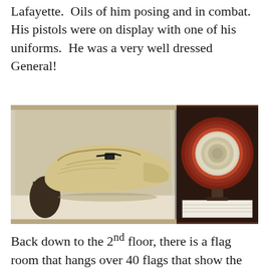Lafayette.  Oils of him posing and in combat.  His pistols were on display with one of his uniforms.  He was a very well dressed General!
[Figure (photo): Two museum artifacts side by side: left image shows an antique cream/beige leather shoe with a heel dating from the colonial era; right image shows a circular reddish-brown framed display containing a small round object.]
Back down to the 2nd floor, there is a flag room that hangs over 40 flags that show the development of the American Stars and Stripes.  The second floor is also full of amazing artifacts.  Locks of Washington's